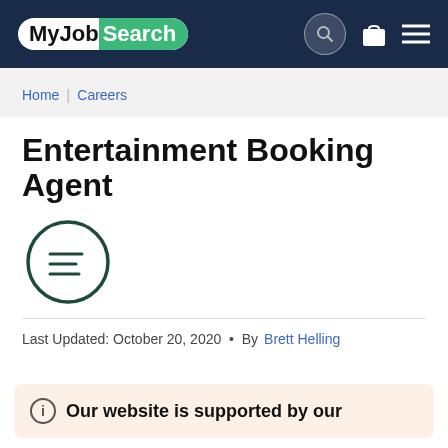MyJobSearch
Home | Careers
Entertainment Booking Agent
Last Updated: October 20, 2020 • By Brett Helling
Our website is supported by our